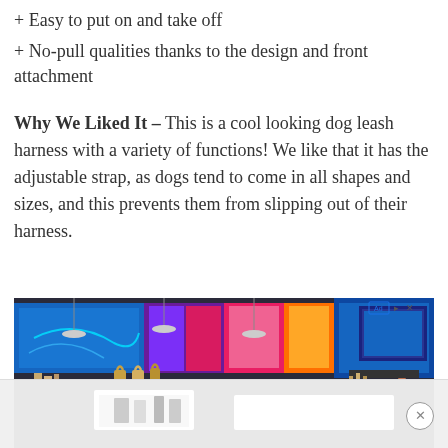+ Easy to put on and take off
+ No-pull qualities thanks to the design and front attachment
Why We Liked It – This is a cool looking dog leash harness with a variety of functions! We like that it has the adjustable strap, as dogs tend to come in all shapes and sizes, and this prevents them from slipping out of their harness.
[Figure (photo): Advertisement showing an indoor trade show or product expo floor with dark walls, colorful LED displays, and product pedestals with displayed items under pendant lighting.]